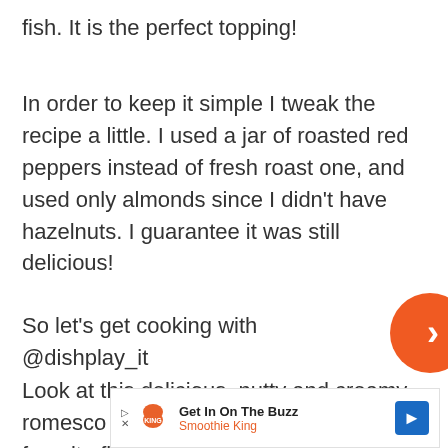fish. It is the perfect topping!
In order to keep it simple I tweak the recipe a little. I used a jar of roasted red peppers instead of fresh roast one, and used only almonds since I didn't have hazelnuts. I guarantee it was still delicious!
So let's get cooking with @dishplay_it
Look at this delicious, nutty and creamy romesco sauce. You may add to your favorite fish or chicken. Simply flavorful.
[Figure (other): Orange circular navigation button with white chevron right arrow]
Get In On The Buzz Smoothie King